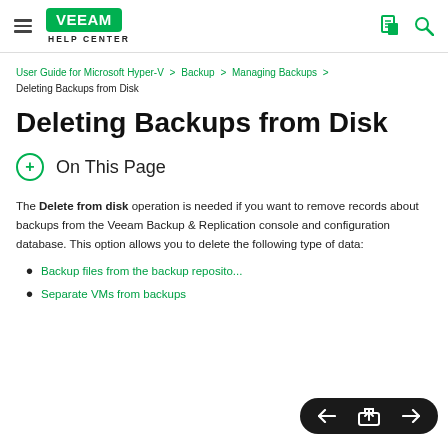Veeam Help Center
User Guide for Microsoft Hyper-V > Backup > Managing Backups > Deleting Backups from Disk
Deleting Backups from Disk
On This Page
The Delete from disk operation is needed if you want to remove records about backups from the Veeam Backup & Replication console and configuration database. This option allows you to delete the following type of data:
Backup files from the backup repository
Separate VMs from backups